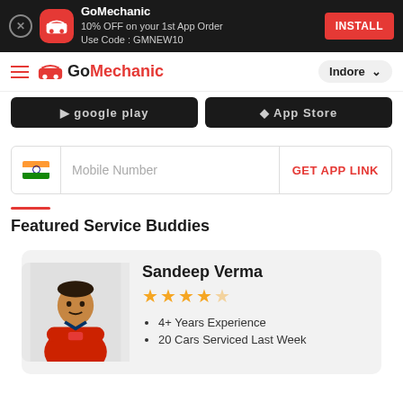[Figure (screenshot): GoMechanic app install banner ad with close button, app icon, promo text, and INSTALL button]
GoMechanic — Navigation bar with hamburger menu, GoMechanic logo, and Indore location selector
[Figure (screenshot): Google Play and App Store download badge strip]
Mobile Number | GET APP LINK
Featured Service Buddies
Sandeep Verma
★★★★☆
• 4+ Years Experience
• 20 Cars Serviced Last Week